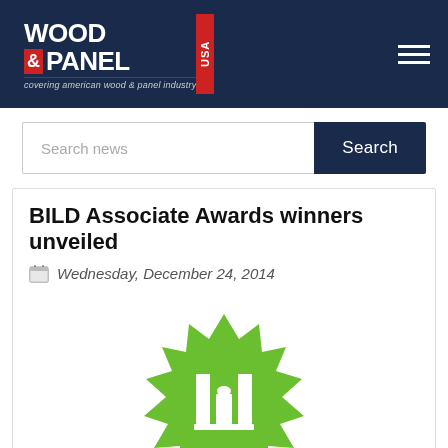WOOD & PANEL USA — covering american wood & panel industry
Search news
BILD Associate Awards winners unveiled
Wednesday, December 24, 2014
[Figure (logo): BILD logo — green starburst/seal shape with white building silhouette icon in center, and large grey BILD® text below]